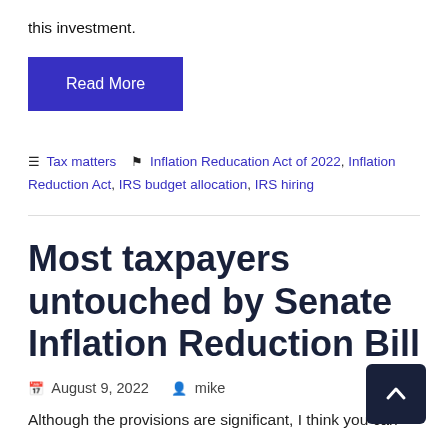this investment.
Read More
Tax matters  Inflation Reducation Act of 2022, Inflation Reduction Act, IRS budget allocation, IRS hiring
Most taxpayers untouched by Senate Inflation Reduction Bill
August 9, 2022  mike
Although the provisions are significant, I think you can